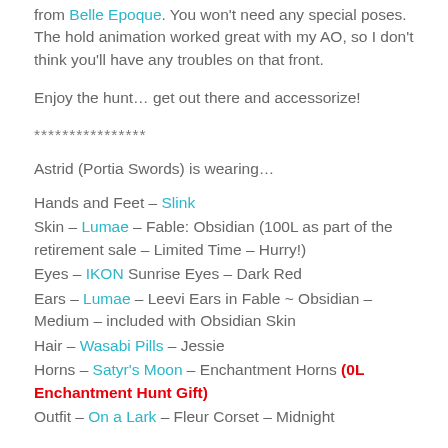from Belle Epoque. You won't need any special poses. The hold animation worked great with my AO, so I don't think you'll have any troubles on that front.
Enjoy the hunt… get out there and accessorize!
****************
Astrid (Portia Swords) is wearing…
Hands and Feet – Slink
Skin – Lumae – Fable: Obsidian (100L as part of the retirement sale – Limited Time – Hurry!)
Eyes – IKON Sunrise Eyes – Dark Red
Ears – Lumae – Leevi Ears in Fable ~ Obsidian – Medium – included with Obsidian Skin
Hair – Wasabi Pills – Jessie
Horns – Satyr's Moon – Enchantment Horns (0L Enchantment Hunt Gift)
Outfit – On a Lark – Fleur Corset – Midnight